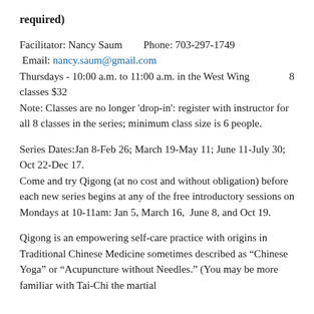required)
Facilitator: Nancy Saum        Phone: 703-297-1749
 Email: nancy.saum@gmail.com
Thursdays - 10:00 a.m. to 11:00 a.m. in the West Wing    8
classes $32
Note: Classes are no longer 'drop-in': register with instructor for all 8 classes in the series; minimum class size is 6 people.
Series Dates:Jan 8-Feb 26; March 19-May 11; June 11-July 30; Oct 22-Dec 17.
Come and try Qigong (at no cost and without obligation) before each new series begins at any of the free introductory sessions on Mondays at 10-11am: Jan 5, March 16,  June 8, and Oct 19.
Qigong is an empowering self-care practice with origins in Traditional Chinese Medicine sometimes described as “Chinese Yoga” or “Acupuncture without Needles.” (You may be more familiar with Tai-Chi the martial